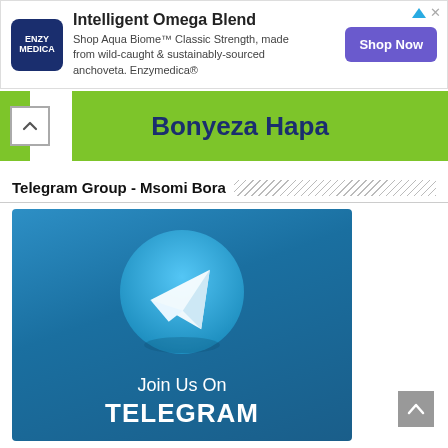[Figure (illustration): Enzymedica advertisement banner with circular dark blue logo reading ENZY MEDICA, headline 'Intelligent Omega Blend', body text 'Shop Aqua Biome™ Classic Strength, made from wild-caught & sustainably-sourced anchoveta. Enzymedica®', and purple 'Shop Now' button.]
[Figure (illustration): Green banner with bold dark blue text 'Bonyeza Hapa' and a white chevron-up button on the left.]
Telegram Group - Msomi Bora
[Figure (illustration): Telegram promotional image with blue background, large Telegram logo circle with paper plane icon, text 'Join Us On TELEGRAM']